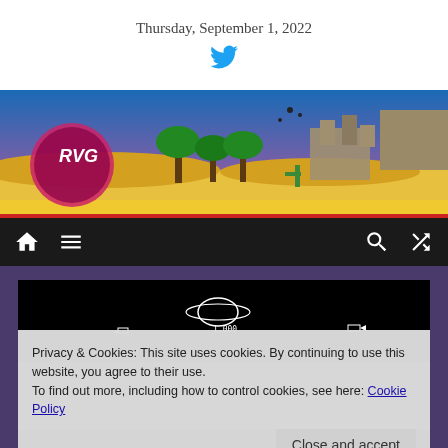Thursday, September 1, 2022
[Figure (screenshot): Website banner for RVG (Retro Video Games) with colorful pixel art game landscape: palm trees, desert, ruins, blue sky.]
[Figure (screenshot): Black navigation bar with home icon, menu icon, search icon, and shuffle icon in white.]
[Figure (screenshot): Black game screenshot showing a space game with planet/Saturn shape and spaceship shapes.]
Privacy & Cookies: This site uses cookies. By continuing to use this website, you agree to their use.
To find out more, including how to control cookies, see here: Cookie Policy
Close and accept